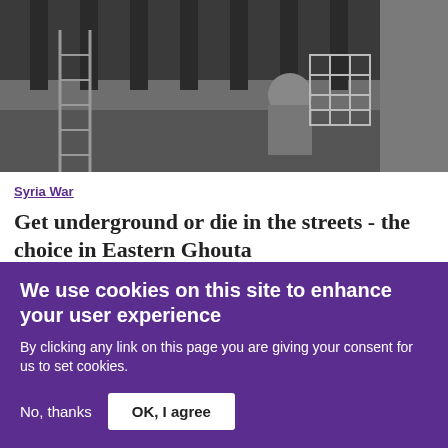[Figure (photo): Black and white photo of a person in a confined underground tunnel or bunker space, holding a metal gate/grate, with concrete walls and ceiling visible]
Syria War
Get underground or die in the streets - the choice in Eastern Ghouta
[Figure (photo): Color photo showing trees and an orange/tan building exterior, appears to be a street scene]
We use cookies on this site to enhance your user experience
By clicking any link on this page you are giving your consent for us to set cookies.
No, thanks
OK, I agree